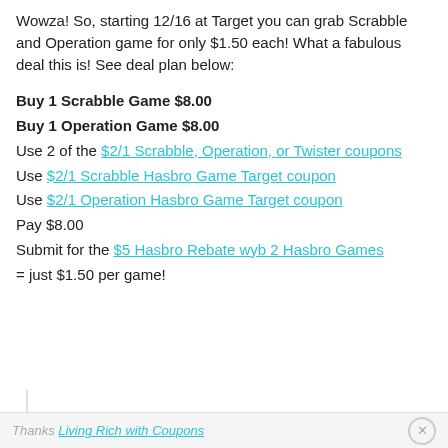Wowza! So, starting 12/16 at Target you can grab Scrabble and Operation game for only $1.50 each! What a fabulous deal this is! See deal plan below:
Buy 1 Scrabble Game $8.00
Buy 1 Operation Game $8.00
Use 2 of the $2/1 Scrabble, Operation, or Twister coupons
Use $2/1 Scrabble Hasbro Game Target coupon
Use $2/1 Operation Hasbro Game Target coupon
Pay $8.00
Submit for the $5 Hasbro Rebate wyb 2 Hasbro Games
= just $1.50 per game!
Thanks Living Rich with Coupons